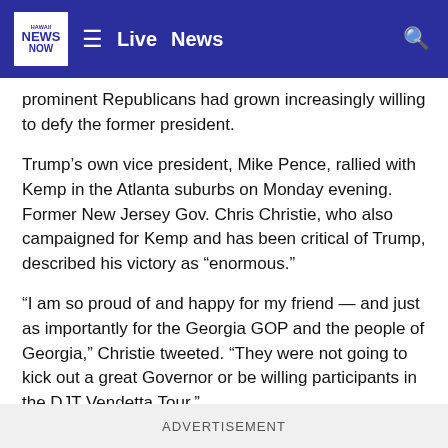Hawaii News Now — Live | News
prominent Republicans had grown increasingly willing to defy the former president.
Trump's own vice president, Mike Pence, rallied with Kemp in the Atlanta suburbs on Monday evening. Former New Jersey Gov. Chris Christie, who also campaigned for Kemp and has been critical of Trump, described his victory as “enormous.”
“I am so proud of and happy for my friend — and just as importantly for the Georgia GOP and the people of Georgia,” Christie tweeted. “They were not going to kick out a great Governor or be willing participants in the DJT Vendetta Tour.”
ADVERTISEMENT